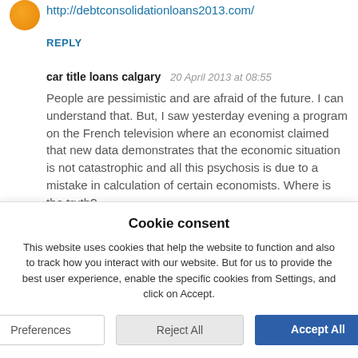http://debtconsolidationloans2013.com/
REPLY
car title loans calgary   20 April 2013 at 08:55
People are pessimistic and are afraid of the future. I can understand that. But, I saw yesterday evening a program on the French television where an economist claimed that new data demonstrates that the economic situation is not catastrophic and all this psychosis is due to a mistake in calculation of certain economists. Where is the truth?
REPLY
Cookie consent
This website uses cookies that help the website to function and also to track how you interact with our website. But for us to provide the best user experience, enable the specific cookies from Settings, and click on Accept.
Preferences
Reject All
Accept All